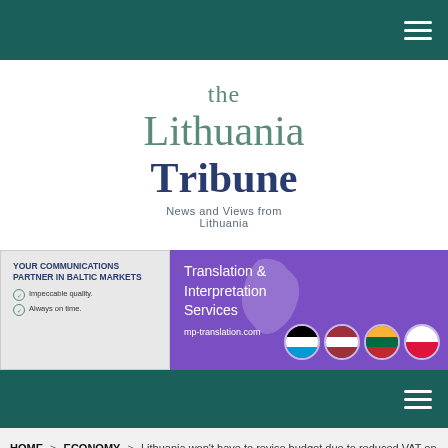Top navigation bar (hamburger menu)
[Figure (logo): The Lithuania Tribune logo with tagline 'News and Views from Lithuania']
[Figure (infographic): Advertisement banner for mp-translation.com - Translation & Interpretation Services, your communications partner in Baltic markets. Features flags of Estonia, Latvia, Lithuania, and Poland.]
Secondary navigation bar (hamburger menu)
HOME > ECONOMY > Lithuania won't have to revise budget due to reduced VAT on heating – Finance Minister